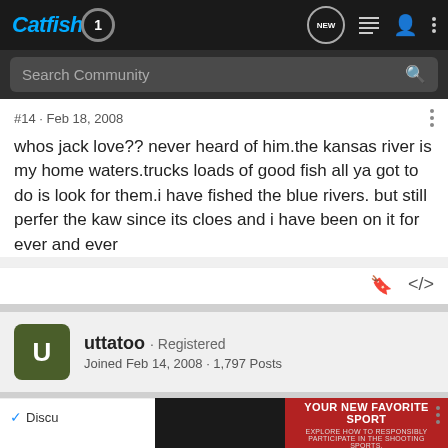Catfish1 — Navigation bar with logo, NEW chat, list, user, and menu icons
Search Community
#14 · Feb 18, 2008
whos jack love?? never heard of him.the kansas river is my home waters.trucks loads of good fish all ya got to do is look for them.i have fished the blue rivers. but still perfer the kaw since its cloes and i have been on it for ever and ever
uttatoo · Registered
Joined Feb 14, 2008 · 1,797 Posts
[Figure (screenshot): Advertisement banner: YOUR NEW FAVORITE SPORT — EXPLORE HOW TO RESPONSIBLY PARTICIPATE IN THE SHOOTING SPORTS. START HERE!]